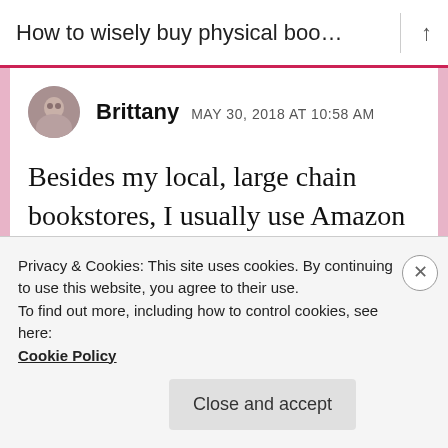How to wisely buy physical boo...
Brittany MAY 30, 2018 AT 10:58 AM
Besides my local, large chain bookstores, I usually use Amazon since shipping is free and I can preorder books as well. I've been using thriftbooks.com to build a collection of books from my
Privacy & Cookies: This site uses cookies. By continuing to use this website, you agree to their use.
To find out more, including how to control cookies, see here:
Cookie Policy
Close and accept